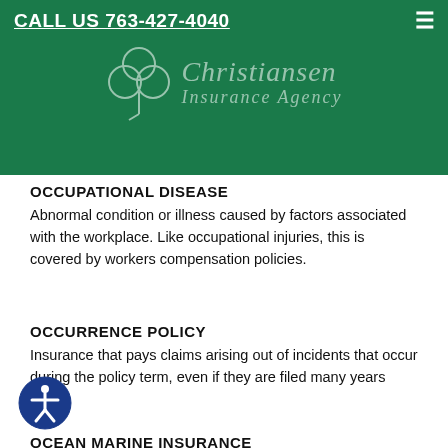CALL US 763-427-4040
[Figure (logo): Christiansen Insurance Agency logo with shamrock/clover icon and italic serif text]
OCCUPATIONAL DISEASE
Abnormal condition or illness caused by factors associated with the workplace. Like occupational injuries, this is covered by workers compensation policies.
OCCURRENCE POLICY
Insurance that pays claims arising out of incidents that occur during the policy term, even if they are filed many years later.
OCEAN MARINE INSURANCE